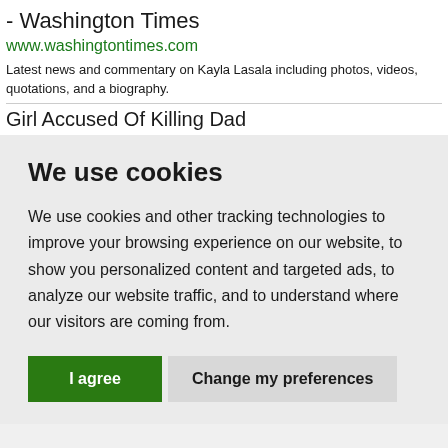- Washington Times
www.washingtontimes.com
Latest news and commentary on Kayla Lasala including photos, videos, quotations, and a biography.
Girl Accused Of Killing Dad
We use cookies
We use cookies and other tracking technologies to improve your browsing experience on our website, to show you personalized content and targeted ads, to analyze our website traffic, and to understand where our visitors are coming from.
I agree | Change my preferences